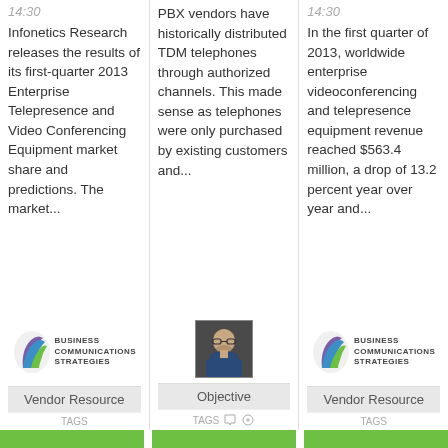14:30
Infonetics Research releases the results of its first-quarter 2013 Enterprise Telepresence and Video Conferencing Equipment market share and predictions. The market...
[Figure (logo): Business Communications Strategies logo]
Vendor Resource
PBX vendors have historically distributed TDM telephones through authorized channels. This made sense as telephones were only purchased by existing customers and...
[Figure (photo): Headshot of a man with glasses]
Objective
TAGS
14:30
In the first quarter of 2013, worldwide enterprise videoconferencing and telepresence equipment revenue reached $563.4 million, a drop of 13.2 percent year over year and...
[Figure (logo): Business Communications Strategies logo]
Vendor Resource